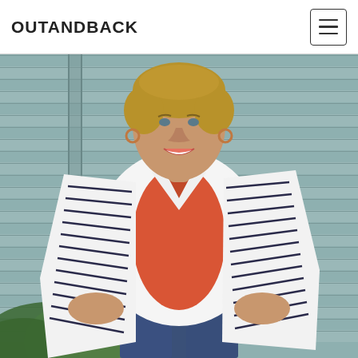OUTANDBACK
[Figure (photo): A smiling middle-aged woman with short blonde hair, wearing a white and navy blue striped blazer over an orange/coral v-neck top and jeans. She has hoop earrings and a gold watch. She is standing outdoors in front of grey horizontal siding with green ferns visible in the lower left. Her hands are in her pockets and she is smiling at the camera.]